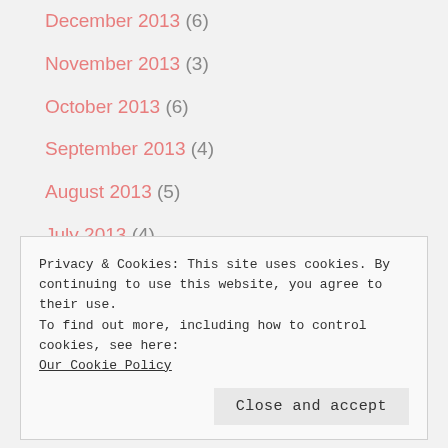December 2013 (6)
November 2013 (3)
October 2013 (6)
September 2013 (4)
August 2013 (5)
July 2013 (4)
June 2013 (4)
May 2013 (5)
Privacy & Cookies: This site uses cookies. By continuing to use this website, you agree to their use.
To find out more, including how to control cookies, see here:
Our Cookie Policy
Close and accept